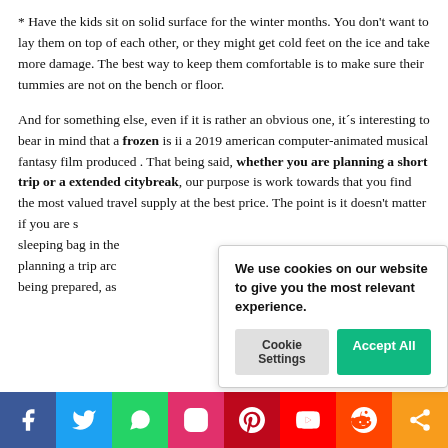* Have the kids sit on solid surface for the winter months. You don't want to lay them on top of each other, or they might get cold feet on the ice and take more damage. The best way to keep them comfortable is to make sure their tummies are not on the bench or floor.
And for something else, even if it is rather an obvious one, it´s interesting to bear in mind that a frozen is ii a 2019 american computer-animated musical fantasy film produced . That being said, whether you are planning a short trip or a extended citybreak, our purpose is work towards that you find the most valued travel supply at the best price. The point is it doesn't matter if you are s... sleeping bag in the... planning a trip arc... being prepared, as...
We use cookies on our website to give you the most relevant experience.